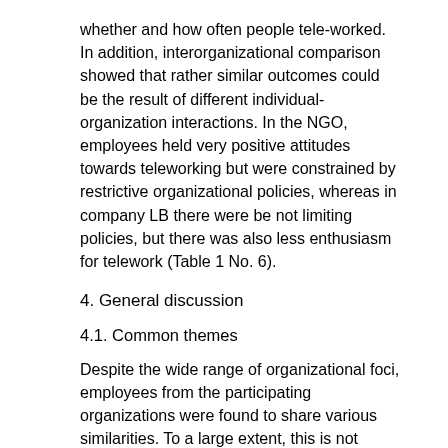whether and how often people tele-worked. In addition, interorganizational comparison showed that rather similar outcomes could be the result of different individual-organization interactions. In the NGO, employees held very positive attitudes towards teleworking but were constrained by restrictive organizational policies, whereas in company LB there were be not limiting policies, but there was also less enthusiasm for telework (Table 1 No. 6).
4. General discussion
4.1. Common themes
Despite the wide range of organizational foci, employees from the participating organizations were found to share various similarities. To a large extent, this is not surprising considering that all employees were influenced by external factors at the national level.
Changeability of travel mode was perceived to be relatively low irrespective of the individual's preferred mode of travel. Employees were often convinced that their travel habits reflected their national choice of...